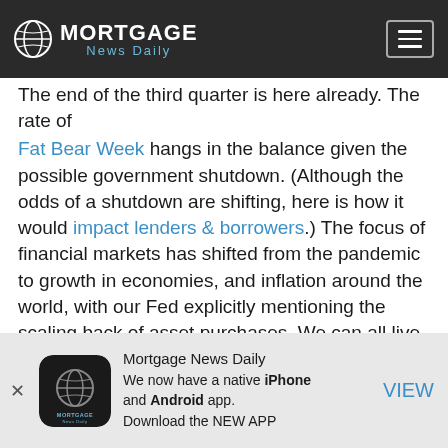MORTGAGE News Daily
The end of the third quarter is here already. The rate of Fat Bear Week hangs in the balance given the possible government shutdown. (Although the odds of a shutdown are shifting, here is how it would impact lenders & borrowers.) The focus of financial markets has shifted from the pandemic to growth in economies, and inflation around the world, with our Fed explicitly mentioning the scaling back of asset purchases. We can all live with a 10-year yielding 1.50 percent, and mortgage rates where they are, but the rate of change in the last week has really turned
[Figure (logo): Mortgage News Daily app icon - dark globe logo on black rounded square background]
Mortgage News Daily
We now have a native iPhone and Android app.
Download the NEW APP
VIEW